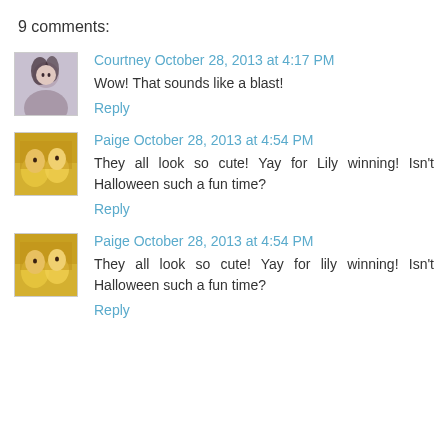9 comments:
Courtney  October 28, 2013 at 4:17 PM
Wow! That sounds like a blast!
Reply
Paige  October 28, 2013 at 4:54 PM
They all look so cute! Yay for Lily winning! Isn't Halloween such a fun time?
Reply
Paige  October 28, 2013 at 4:54 PM
They all look so cute! Yay for lily winning! Isn't Halloween such a fun time?
Reply